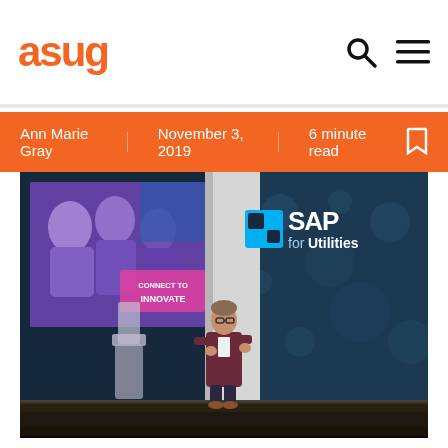ASUG
Ann Marie Gray    November 3, 2019    6 minute read
[Figure (photo): Conference stage photo showing a presenter speaking at an event. Large screen on left shows smiling conference attendees with text CONNECT TO INNOVATE. Right side of stage has dark blue background with SAP for Utilities logo. Presenter is a man in a blazer standing at center stage with a podium/lectern to his left.]